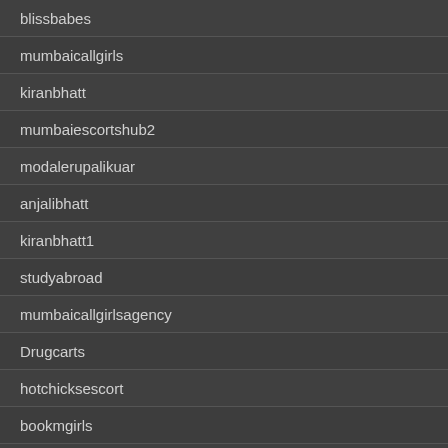blissbabes
mumbaicallgirls
kiranbhatt
mumbaiescortshub2
modalerupalikuar
anjalibhatt
kiranbhatt1
studyabroad
mumbaicallgirlsagency
Drugcarts
hotchicksescort
bookmgirls
ayushibasu